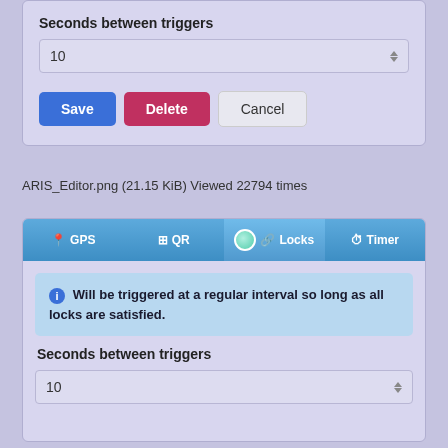Seconds between triggers
10
Save  Delete  Cancel
ARIS_Editor.png (21.15 KiB) Viewed 22794 times
[Figure (screenshot): Tab bar with GPS, QR, Locks (active), and Timer tabs]
Will be triggered at a regular interval so long as all locks are satisfied.
Seconds between triggers
10